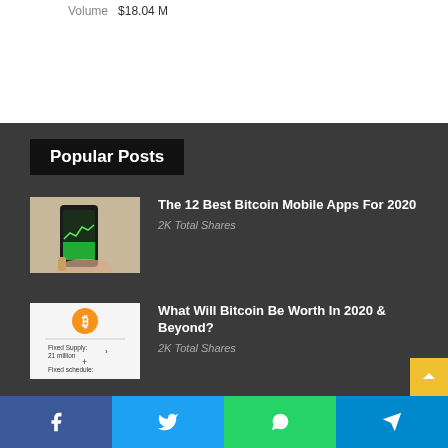Volume  $18.04 M
Popular Posts
[Figure (photo): Hands holding a smartphone displaying a trading/finance app with green chart]
The 12 Best Bitcoin Mobile Apps For 2020
2K Total Shares
[Figure (infographic): Bitcoin logo with fixed supply 21 million and fixed schedule infographic]
What Will Bitcoin Be Worth In 2020 & Beyond?
2K Total Shares